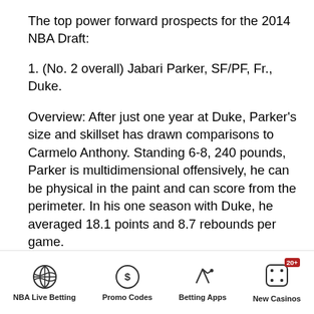The top power forward prospects for the 2014 NBA Draft:
1. (No. 2 overall) Jabari Parker, SF/PF, Fr., Duke.
Overview: After just one year at Duke, Parker's size and skillset has drawn comparisons to Carmelo Anthony. Standing 6-8, 240 pounds, Parker is multidimensional offensively, he can be physical in the paint and can score from the perimeter. In his one season with Duke, he averaged 18.1 points and 8.7 rebounds per game.
Analysis: Parker has been drawing interest as a possible No. 1 overall pick since midway through last year and many NBA scouts think he could be the best player in this year's draft. He lacks the athleticism of Andrew Wiggins and the size of Joel Embiid, but is considered a better all-
NBA Live Betting | Promo Codes | Betting Apps | New Casinos